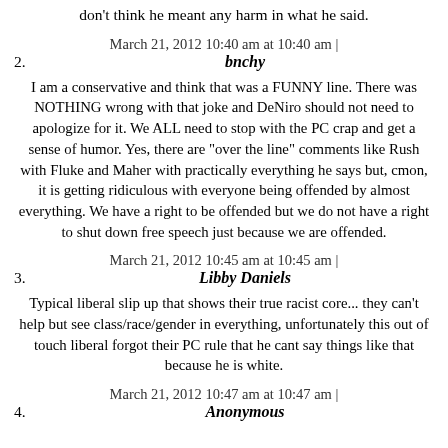don't think he meant any harm in what he said.
March 21, 2012 10:40 am at 10:40 am | 2. bnchy
I am a conservative and think that was a FUNNY line. There was NOTHING wrong with that joke and DeNiro should not need to apologize for it. We ALL need to stop with the PC crap and get a sense of humor. Yes, there are "over the line" comments like Rush with Fluke and Maher with practically everything he says but, cmon, it is getting ridiculous with everyone being offended by almost everything. We have a right to be offended but we do not have a right to shut down free speech just because we are offended.
March 21, 2012 10:45 am at 10:45 am | 3. Libby Daniels
Typical liberal slip up that shows their true racist core... they can't help but see class/race/gender in everything, unfortunately this out of touch liberal forgot their PC rule that he cant say things like that because he is white.
March 21, 2012 10:47 am at 10:47 am | 4. Anonymous